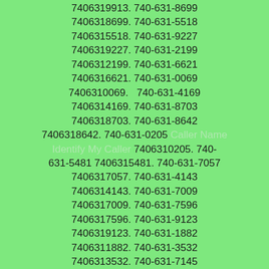7406319913. 740-631-8699 7406318699. 740-631-5518 7406315518. 740-631-9227 7406319227. 740-631-2199 7406312199. 740-631-6621 7406316621. 740-631-0069 7406310069.  740-631-4169 7406314169. 740-631-8703 7406318703. 740-631-8642 7406318642. 740-631-0205 Caller Name Identify My Caller 7406310205. 740-631-5481 7406315481. 740-631-7057 7406317057. 740-631-4143 7406314143. 740-631-7009 7406317009. 740-631-7596 7406317596. 740-631-9123 7406319123. 740-631-1882 7406311882. 740-631-3532 7406313532. 740-631-7145 7406317145. 740-631-9950 7406319950. 740-631-4408 7406314408. 740-631-1947 7406311947. 740-631-1719 7406311719. 740-631-0395 Caller Name Identify My Caller 7406310395. 740-631-8575